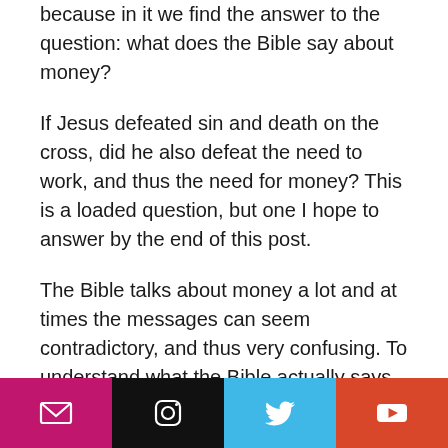because in it we find the answer to the question: what does the Bible say about money?
If Jesus defeated sin and death on the cross, did he also defeat the need to work, and thus the need for money? This is a loaded question, but one I hope to answer by the end of this post.
The Bible talks about money a lot and at times the messages can seem contradictory, and thus very confusing. To understand what the Bible actually says about money, one must break down the financial instructions into two main categories. One is the natural and
[Figure (infographic): Footer bar with four social media icon buttons: email (magenta), Instagram (black), Twitter (light blue), YouTube (red-orange)]